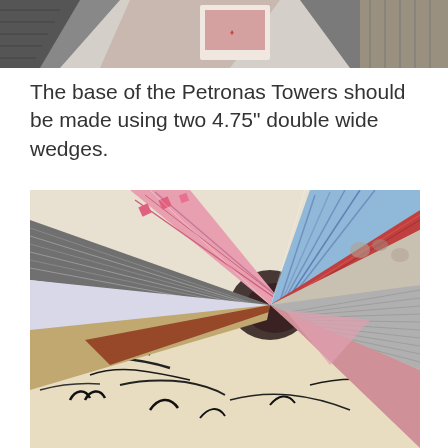[Figure (photo): Partial photo at top of page showing fabric wedge pieces arranged together, partially cropped]
The base of the Petronas Towers should be made using two 4.75" double wide wedges.
[Figure (photo): Close-up photo of multiple colorful fabric wedge pieces fanned out from a central point, showing various patterns including pink geometric, gray stripe, blue stripe, floral, and other fabric prints]